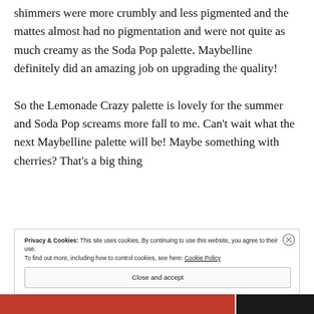shimmers were more crumbly and less pigmented and the mattes almost had no pigmentation and were not quite as much creamy as the Soda Pop palette. Maybelline definitely did an amazing job on upgrading the quality!
So the Lemonade Crazy palette is lovely for the summer and Soda Pop screams more fall to me. Can't wait what the next Maybelline palette will be! Maybe something with cherries? That's a big thing
Privacy & Cookies: This site uses cookies. By continuing to use this website, you agree to their use.
To find out more, including how to control cookies, see here: Cookie Policy
Close and accept